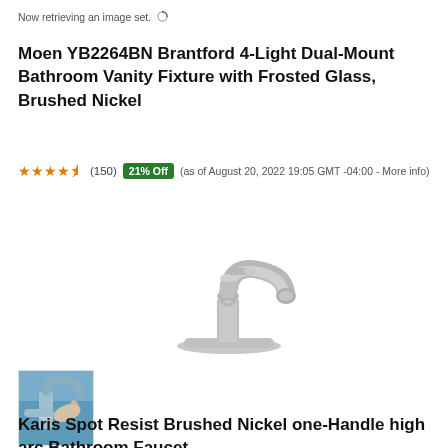Now retrieving an image set.
Moen YB2264BN Brantford 4-Light Dual-Mount Bathroom Vanity Fixture with Frosted Glass, Brushed Nickel
★★★★½ (150) 21% Off (as of August 20, 2022 19:05 GMT -04:00 - More info)
[Figure (photo): Brushed nickel single-handle bathroom faucet with high arc spout on a deck plate]
[Figure (photo): Thumbnail image of a bathroom faucet being used]
Karis Spot Resist Brushed Nickel one-Handle high arc Bathroom Faucet